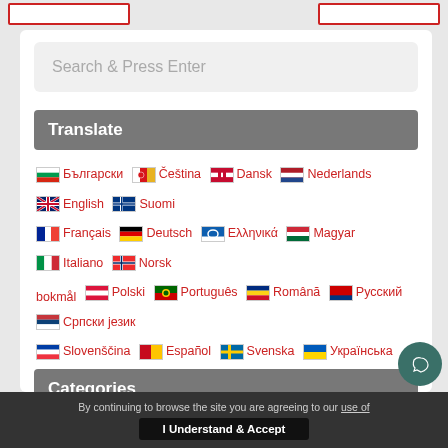[Figure (screenshot): Top navigation bar remnant with two red-bordered white buttons at left and right edges]
Search & Press Enter
Translate
Български  Čeština  Dansk  Nederlands  English  Suomi  Français  Deutsch  Ελληνικά  Magyar  Italiano  Norsk bokmål  Polski  Português  Română  Русский  Српски језик  Slovenščina  Español  Svenska  Українська
Categories
By continuing to browse the site you are agreeing to our use of
I Understand & Accept